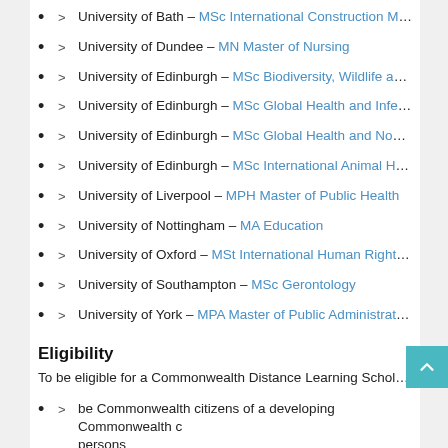> University of Bath – MSc International Construction Management
> University of Dundee – MN Master of Nursing
> University of Edinburgh – MSc Biodiversity, Wildlife and Ecosy...
> University of Edinburgh – MSc Global Health and Infectious D...
> University of Edinburgh – MSc Global Health and Non-Comm...
> University of Edinburgh – MSc International Animal Health
> University of Liverpool – MPH Master of Public Health
> University of Nottingham – MA Education
> University of Oxford – MSt International Human Rights Law
> University of Southampton – MSc Gerontology
> University of York – MPA Master of Public Administration – Int...
Eligibility
To be eligible for a Commonwealth Distance Learning Scholarship, ca...
> be Commonwealth citizens of a developing Commonwealth country or persons
> be permanently resident in a developing Commonwealth cour...
> normally hold a first degree of upper second-class standard, o...